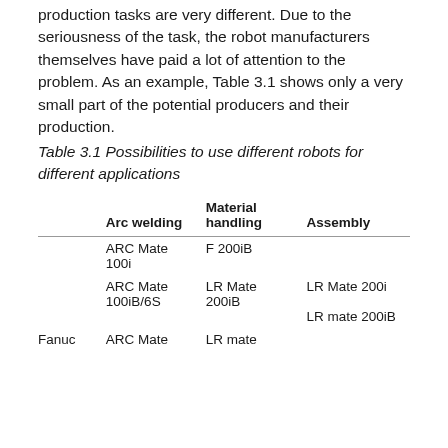production tasks are very different. Due to the seriousness of the task, the robot manufacturers themselves have paid a lot of attention to the problem. As an example, Table 3.1 shows only a very small part of the potential producers and their production.
Table 3.1 Possibilities to use different robots for different applications
|  | Arc welding | Material handling | Assembly |
| --- | --- | --- | --- |
|  | ARC Mate 100i | F 200iB |  |
|  | ARC Mate 100iB/6S | LR Mate 200iB | LR Mate 200i

LR mate 200iB |
| Fanuc | ARC Mate | LR mate |  |